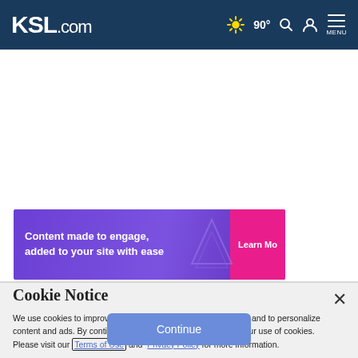KSL.com — 90° Search User Menu
[Figure (screenshot): Purple advertisement banner: 'Content made to engage, added to your site with ease' with 'Learn Mo' button]
Cookie Notice
We use cookies to improve your experience, analyze site traffic, and to personalize content and ads. By continuing to use our site, you consent to our use of cookies. Please visit our Terms of Use and Privacy Policy for more information.
Continue